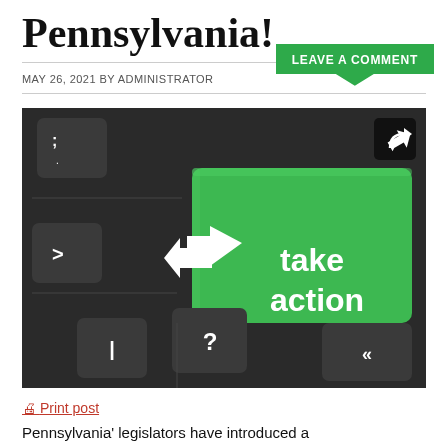Pennsylvania!
MAY 26, 2021 BY ADMINISTRATOR
[Figure (photo): Close-up of a computer keyboard with one large green key labeled 'take action' and a white left-arrow symbol. Other dark gray keys show semicolon, greater-than, question mark, pipe, and double-chevron symbols. A black square icon with a share arrow appears in the top right corner of the image.]
🖨 Print post
Pennsylvania' legislators have introduced a